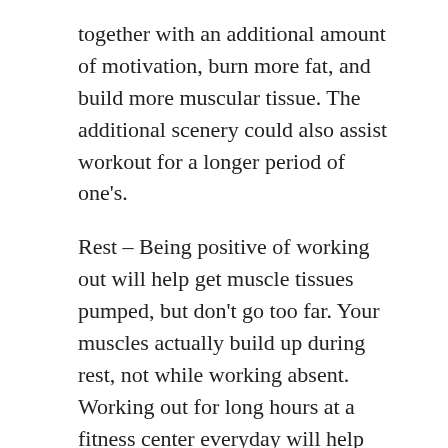together with an additional amount of motivation, burn more fat, and build more muscular tissue. The additional scenery could also assist workout for a longer period of one's.
Rest – Being positive of working out will help get muscle tissues pumped, but don't go too far. Your muscles actually build up during rest, not while working absent. Working out for long hours at a fitness center everyday will help uou tone your muscles, but not gain a whole lot.
muscle building
April 3, 2017 / Uncategorized / aginghgh injections, muscle cars